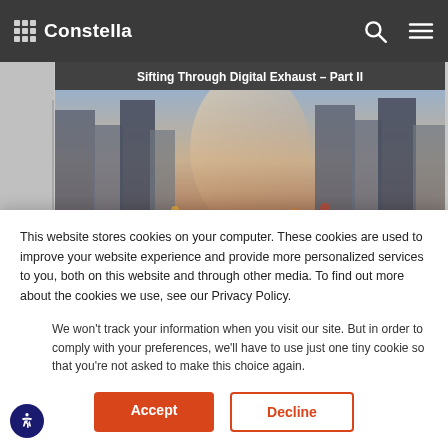Constella — navigation bar with logo, search icon, and menu icon
[Figure (screenshot): Partially visible article card showing 'Sifting Through Digital Exhaust – Part II' title bar, a city street photo, and partial 'Hybrid Security Threats and Malign...' title overlay]
This website stores cookies on your computer. These cookies are used to improve your website experience and provide more personalized services to you, both on this website and through other media. To find out more about the cookies we use, see our Privacy Policy.
We won't track your information when you visit our site. But in order to comply with your preferences, we'll have to use just one tiny cookie so that you're not asked to make this choice again.
Accept
Decline